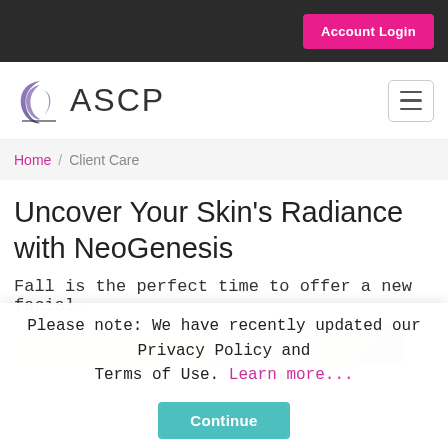Account Login
[Figure (logo): ASCP logo with stylized crescent/wave icon in purple and black, followed by text ASCP in large light font]
Home / Client Care
Uncover Your Skin’s Radiance with NeoGenesis
Fall is the perfect time to offer a new facial.
[Figure (photo): Partial image of skincare product or facial tool on light background]
Please note: We have recently updated our Privacy Policy and Terms of Use. Learn more... Continue